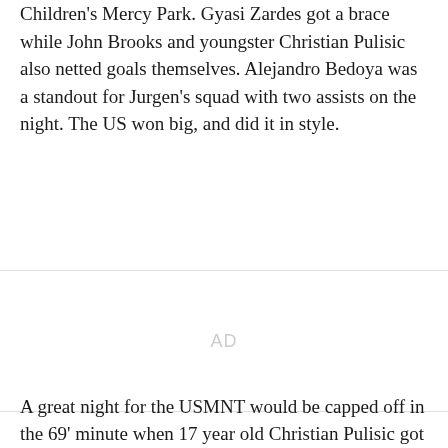Children's Mercy Park. Gyasi Zardes got a brace while John Brooks and youngster Christian Pulisic also netted goals themselves. Alejandro Bedoya was a standout for Jurgen's squad with two assists on the night. The US won big, and did it in style.
[Figure (other): Advertisement placeholder area with 'AD' label centered]
A great night for the USMNT would be capped off in the 69' minute when 17 year old Christian Pulisic got